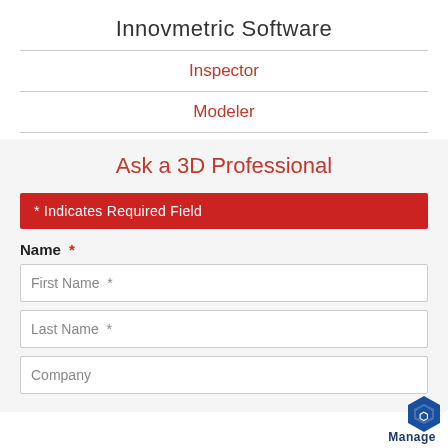Innovmetric Software
Inspector
Modeler
Ask a 3D Professional
* Indicates Required Field
Name *
First Name *
Last Name *
Company